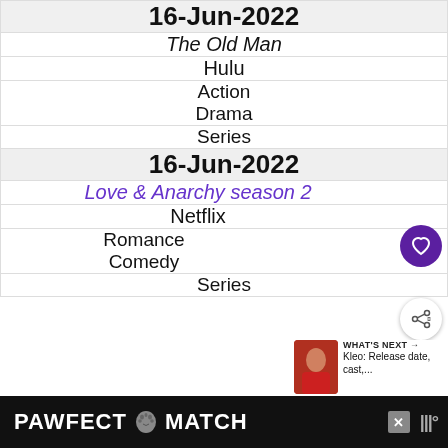| 16-Jun-2022 |
| The Old Man |
| Hulu |
| Action
Drama |
| Series |
| 16-Jun-2022 |
| Love & Anarchy season 2 |
| Netflix |
| Romance
Comedy |
| Series |
[Figure (other): PAWFECT MATCH advertisement banner at bottom of screen with cat graphic and close button]
WHAT'S NEXT → Kleo: Release date, cast,...